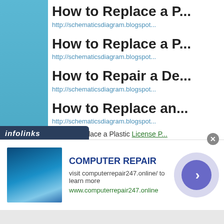How to Replace a P...
http://schematicsdiagram.blogspot...
How to Replace a P...
http://schematicsdiagram.blogspot...
How to Repair a De...
http://schematicsdiagram.blogspot...
How to Replace an...
http://schematicsdiagram.blogspot...
How to Replace a Plastic License ...
http://schematicsdiagram.blogspot...
How to Replace a P...
[Figure (screenshot): Infolinks ad overlay bar with logo]
[Figure (screenshot): Computer Repair advertisement banner with image, title, description and arrow button. Title: COMPUTER REPAIR. Description: visit computerrepair247.online/ to learn more. URL: www.computerrepair247.online]